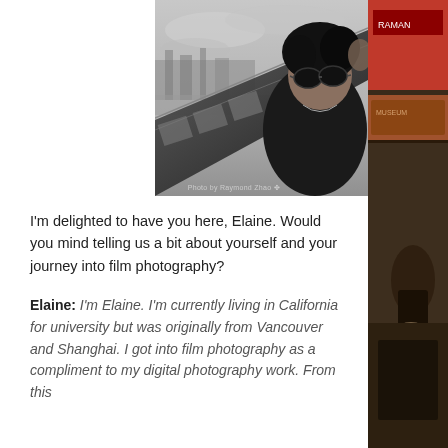[Figure (photo): Black and white photo of a young person wearing round sunglasses and dark jacket, looking at camera, with an architectural rooftop/railing in the background and cloudy sky. Photo credit: Photo by Raymond Zhao.]
[Figure (photo): Right side strip showing a color street scene photo with a person carrying bags near storefronts.]
I'm delighted to have you here, Elaine. Would you mind telling us a bit about yourself and your journey into film photography?
Elaine: I'm Elaine. I'm currently living in California for university but was originally from Vancouver and Shanghai. I got into film photography as a compliment to my digital photography work. From this